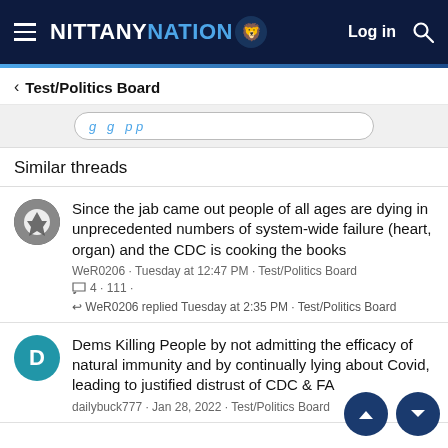NITTANY NATION  Log in
< Test/Politics Board
Similar threads
Since the jab came out people of all ages are dying in unprecedented numbers of system-wide failure (heart, organ) and the CDC is cooking the books
WeR0206 · Tuesday at 12:47 PM · Test/Politics Board
4 · 111 ·
WeR0206 replied Tuesday at 2:35 PM · Test/Politics Board
Dems Killing People by not admitting the efficacy of natural immunity and by continually lying about Covid, leading to justified distrust of CDC & FDA
dailybuck777 · Jan 28, 2022 · Test/Politics Board